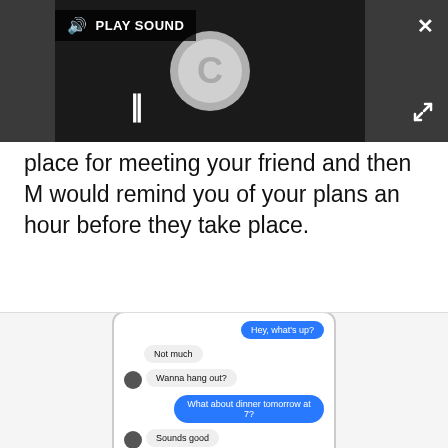[Figure (screenshot): Video player with dark background showing a loading spinner (Chrome-like circle with 'C'), play sound label, pause button, close X button, and expand icon.]
place for meeting your friend and then M would remind you of your plans an hour before they take place.
[Figure (screenshot): Phone screenshot showing a chat conversation: 'Hey, what's up?', 'Not much', 'Wanna hang out?', 'What about dinner tomorrow at 7?', 'Sounds good', with a Start Plan button.]